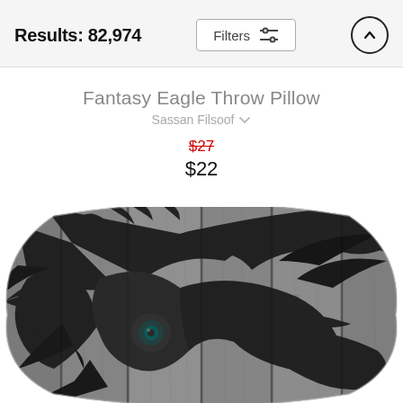Results: 82,974
Fantasy Eagle Throw Pillow
Sassan Filsoof
$27 (strikethrough) $22
[Figure (photo): Throw pillow with an eagle graphic printed on a wood plank texture background, shown in a decorative pillow shape. Black eagle design on gray wood grain.]